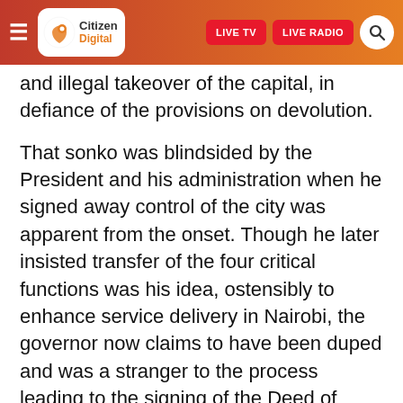Citizen Digital — LIVE TV | LIVE RADIO
and illegal takeover of the capital, in defiance of the provisions on devolution.
That sonko was blindsided by the President and his administration when he signed away control of the city was apparent from the onset. Though he later insisted transfer of the four critical functions was his idea, ostensibly to enhance service delivery in Nairobi, the governor now claims to have been duped and was a stranger to the process leading to the signing of the Deed of Transfer of functions in February.